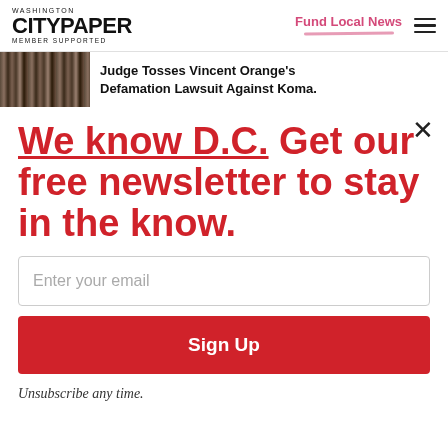WASHINGTON CITYPAPER MEMBER SUPPORTED
Fund Local News
Judge Tosses Vincent Orange's Defamation Lawsuit Against Koma.
We know D.C. Get our free newsletter to stay in the know.
Enter your email
Sign Up
Unsubscribe any time.